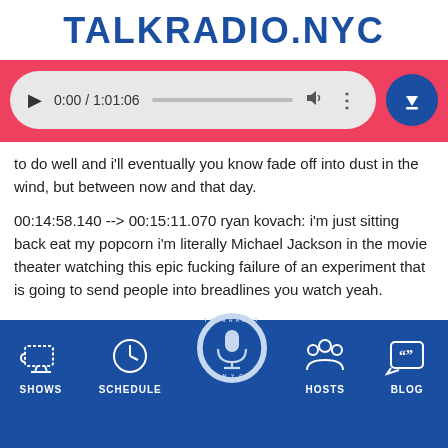TALKRADIO.NYC
[Figure (screenshot): Audio player bar showing play button, time 0:00 / 1:01:06, progress bar, volume and more icons, and a blue download button]
to do well and i'll eventually you know fade off into dust in the wind, but between now and that day.
00:14:58.140 --> 00:15:11.070 ryan kovach: i'm just sitting back eat my popcorn i'm literally Michael Jackson in the movie theater watching this epic fucking failure of an experiment that is going to send people into breadlines you watch yeah.
[Figure (infographic): Footer navigation bar with icons and labels: SHOWS (coffee cup icon), SCHEDULE (clock icon), center TalkRadio.NYC logo with microphone, HOSTS (people icon), BLOG (quote bubble icon)]